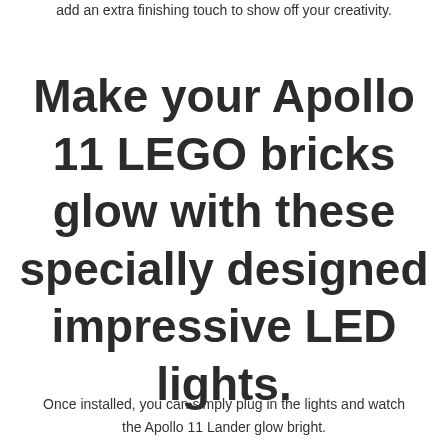add an extra finishing touch to show off your creativity.
Make your Apollo 11 LEGO bricks glow with these specially designed impressive LED lights.
Once installed, you can simply plug in the lights and watch the Apollo 11 Lander glow bright.